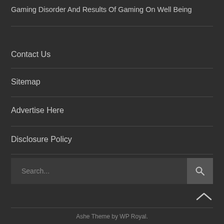Gaming Disorder And Results Of Gaming On Well Being
Contact Us
Sitemap
Advertise Here
Disclosure Policy
Ashe Theme by WP Royal.